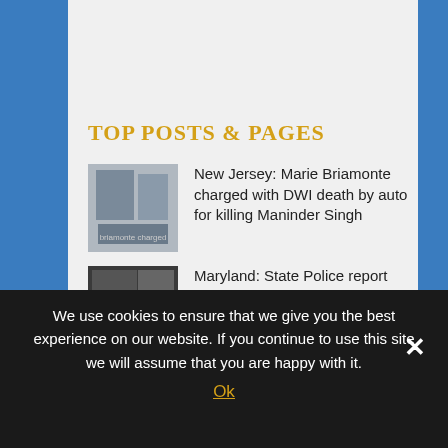TOP POSTS & PAGES
New Jersey: Marie Briamonte charged with DWI death by auto for killing Maninder Singh
Maryland: State Police report DUI / DWI arrests for November 2014; cab=$25 - lawyer $10,000
New York: State Police snare Carl Palenik with DWAI Drugs charge after chase through two counties;
We use cookies to ensure that we give you the best experience on our website. If you continue to use this site we will assume that you are happy with it.
Ok